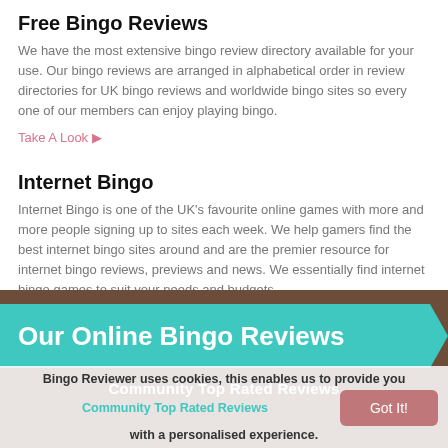Free Bingo Reviews
We have the most extensive bingo review directory available for your use. Our bingo reviews are arranged in alphabetical order in review directories for UK bingo reviews and worldwide bingo sites so every one of our members can enjoy playing bingo.
Take A Look ▶
Internet Bingo
Internet Bingo is one of the UK's favourite online games with more and more people signing up to sites each week. We help gamers find the best internet bingo sites around and are the premier resource for internet bingo reviews, previews and news. We essentially find internet bingo games to suit your needs and budgets.
Take A Look ▶
[Figure (infographic): Teal banner with text 'Our Online Bingo Reviews' and dark brown background, with subtitle 'Community Top Rated Reviews']
Bingo Reviewer uses cookies, this enables us to provide you with a personalised experience.